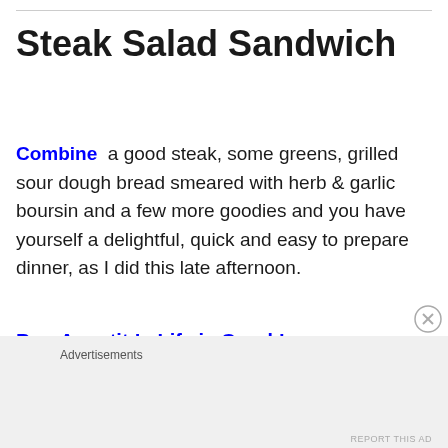Steak Salad Sandwich
Combine  a good steak, some greens, grilled sour dough bread smeared with herb & garlic boursin and a few more goodies and you have yourself a delightful, quick and easy to prepare dinner, as I did this late afternoon.
Bon Appetit !   Life is Good !
Advertisements